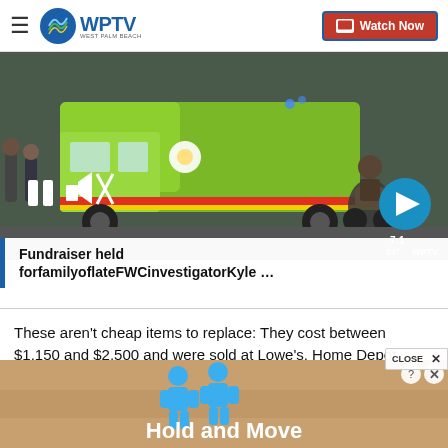WPTV West Palm Beach — Watch Now
[Figure (screenshot): Video player showing a green fire truck and a police motorcycle on the road. Pause and mute controls visible. A blue circle with right arrow (next) button visible.]
Fundraiser held forfamilyoflateFWCinvestigatorKyle …
These aren't cheap items to replace: They cost between $1,150 and $2,500 and were sold at Lowe's, Home Depot, Best Buy and other home appliance retailers.
[Figure (infographic): Hold and Move advertisement banner with two blue cartoon figures and text 'Hold and Move'. Includes a CLOSE button.]